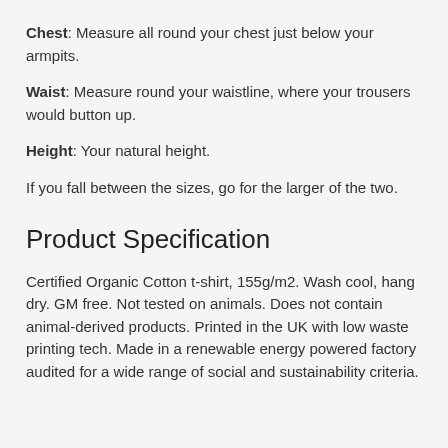Chest: Measure all round your chest just below your armpits.
Waist: Measure round your waistline, where your trousers would button up.
Height: Your natural height.
If you fall between the sizes, go for the larger of the two.
Product Specification
Certified Organic Cotton t-shirt, 155g/m2. Wash cool, hang dry. GM free. Not tested on animals. Does not contain animal-derived products. Printed in the UK with low waste printing tech. Made in a renewable energy powered factory audited for a wide range of social and sustainability criteria.